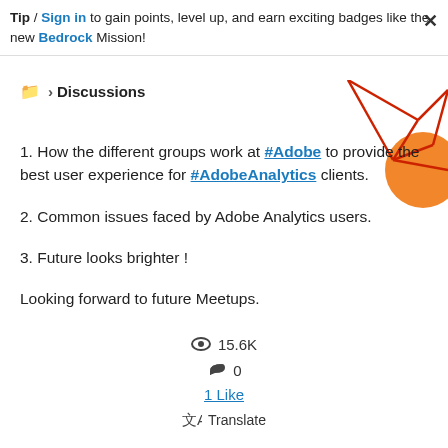Tip / Sign in to gain points, level up, and earn exciting badges like the new Bedrock Mission!
Discussions
[Figure (illustration): Decorative geometric red line art with orange circle in top-right corner]
1. How the different groups work at #Adobe to provide the best user experience for #AdobeAnalytics clients.
2. Common issues faced by Adobe Analytics users.
3. Future looks brighter !
Looking forward to future Meetups.
👁 15.6K
↩ 0
1 Like
🈯 Translate